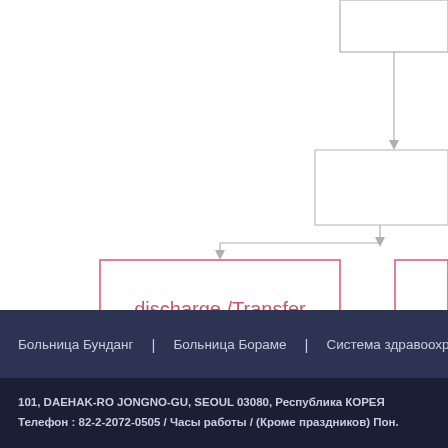[Figure (flowchart): Partial flowchart showing a 'discharge /Transfer' box in pink/rose outline, with gray connector lines and arrows leading into it from above. Another partially visible box appears at the right edge. The diagram is cropped — it is the bottom portion of a larger hospital process flowchart.]
Больница Бунданг | Больница Бораме | Система здравоохранени...
101, DAEHAK-RO JONGNO-GU, SEOUL 03080, Республика КОРЕЯ
Телефон : 82-2-2072-0505 / Часы работы / (Кроме праздников) Пон...